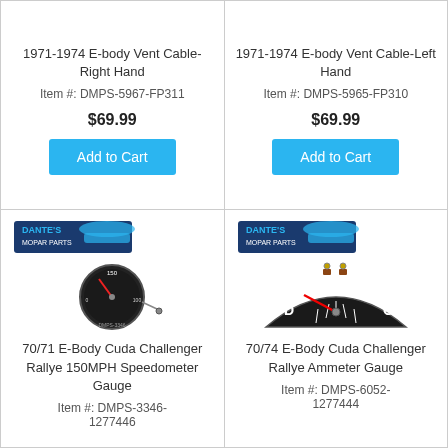1971-1974 E-body Vent Cable- Right Hand
Item #: DMPS-5967-FP311
$69.99
Add to Cart
1971-1974 E-body Vent Cable-Left Hand
Item #: DMPS-5965-FP310
$69.99
Add to Cart
[Figure (photo): Dante's Mopar Parts logo with a speedometer gauge product image for 70/71 E-Body Cuda Challenger Rallye 150MPH Speedometer Gauge]
70/71 E-Body Cuda Challenger Rallye 150MPH Speedometer Gauge
Item #: DMPS-3346-1277446
[Figure (photo): Dante's Mopar Parts logo with an ammeter gauge product image for 70/74 E-Body Cuda Challenger Rallye Ammeter Gauge]
70/74 E-Body Cuda Challenger Rallye Ammeter Gauge
Item #: DMPS-6052-1277444